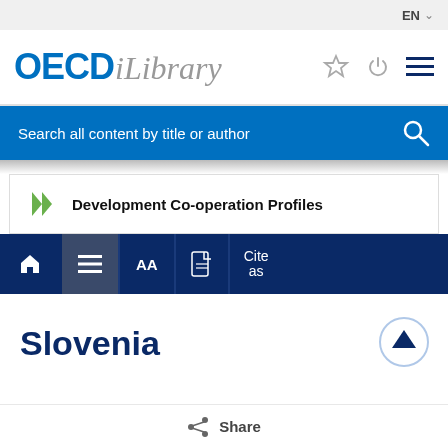EN
[Figure (logo): OECD iLibrary logo with star, power, and menu icons]
Search all content by title or author
Development Co-operation Profiles
Home | Menu | AA | PDF | Cite as
Slovenia
Share